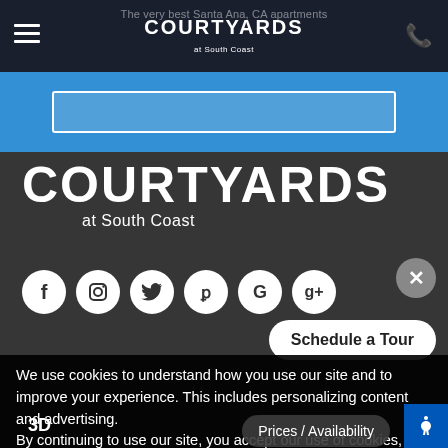The very best Santa Ana, CA apartments
COURTYARDS at South Coast
[Figure (logo): Courtyards at South Coast logo in navigation bar]
[Figure (illustration): Social media icons: Facebook, Instagram, Twitter, Yelp, Google, Google+]
Schedule a Tour
We use cookies to understand how you use our site and to improve your experience. This includes personalizing content and advertising.
By continuing to use our site, you accept our use of cookies, Privacy Policy, and Terms of Use. Learn more
I accept
Prices / Availability
3D